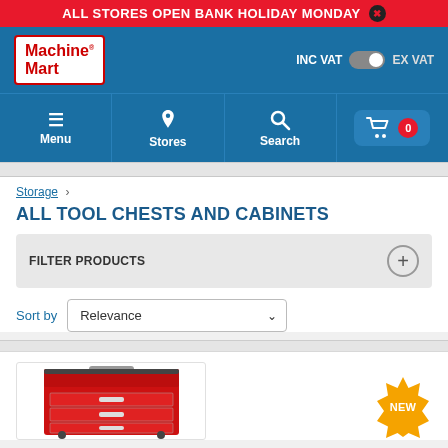ALL STORES OPEN BANK HOLIDAY MONDAY
[Figure (logo): Machine Mart logo with red border]
INC VAT  EX VAT
Menu  Stores  Search  Cart 0
Storage >
ALL TOOL CHESTS AND CABINETS
FILTER PRODUCTS
Sort by  Relevance
[Figure (photo): Red tool chest cabinet with multiple drawers. NEW badge starburst shown.]